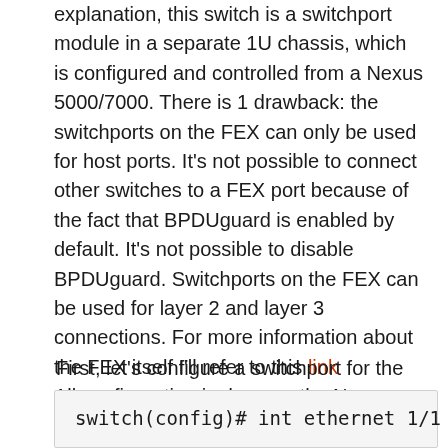explanation, this switch is a switchport module in a separate 1U chassis, which is configured and controlled from a Nexus 5000/7000. There is 1 drawback: the switchports on the FEX can only be used for host ports. It's not possible to connect other switches to a FEX port because of the fact that BPDUguard is enabled by default. It's not possible to disable BPDUguard. Switchports on the FEX can be used for layer 2 and layer 3 connections. For more information about the FEX itself I'll refer to this link
All configuration is done on the Nexus 7000 with NX-OS 6.0(1). In this scenario, the 2248TP FEX is connected to switchport ethernet 1/1  (10GE port) of the Nexus 7000 with a twinax cable.
First, let's configure a switchport for the FEX:
switch(config)# int ethernet 1/1